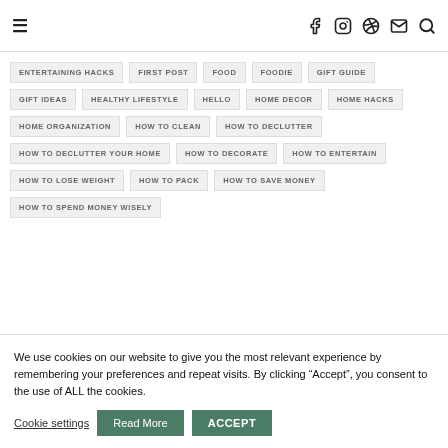≡  f  Instagram  Pinterest  Mail  Search
ENTERTAINING HACKS
FIRST POST
FOOD
FOODIE
GIFT GUIDE
GIFT IDEAS
HEALTHY LIFESTYLE
HELLO
HOME DECOR
HOME HACKS
HOME ORGANIZATION
HOW TO CLEAN
HOW TO DECLUTTER
HOW TO DECLUTTER YOUR HOME
HOW TO DECORATE
HOW TO ENTERTAIN
HOW TO LOSE WEIGHT
HOW TO PACK
HOW TO SAVE MONEY
HOW TO SPEND MONEY WISELY
We use cookies on our website to give you the most relevant experience by remembering your preferences and repeat visits. By clicking “Accept”, you consent to the use of ALL the cookies.
Cookie settings  Read More  ACCEPT